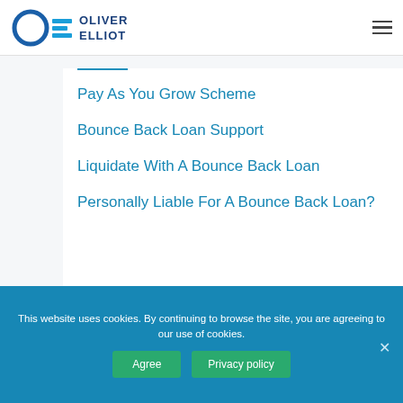Oliver Elliot
Pay As You Grow Scheme
Bounce Back Loan Support
Liquidate With A Bounce Back Loan
Personally Liable For A Bounce Back Loan?
This website uses cookies. By continuing to browse the site, you are agreeing to our use of cookies.